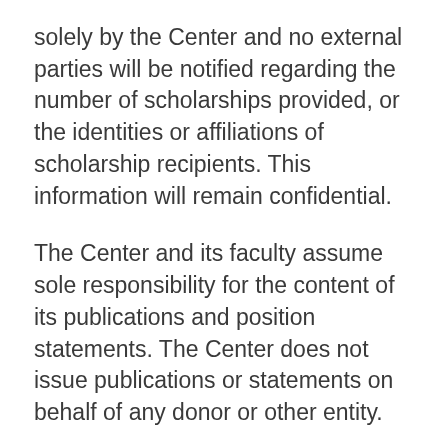solely by the Center and no external parties will be notified regarding the number of scholarships provided, or the identities or affiliations of scholarship recipients. This information will remain confidential.
The Center and its faculty assume sole responsibility for the content of its publications and position statements. The Center does not issue publications or statements on behalf of any donor or other entity.
The organizations that have provided funding to the Center or to the Law School are listed below.